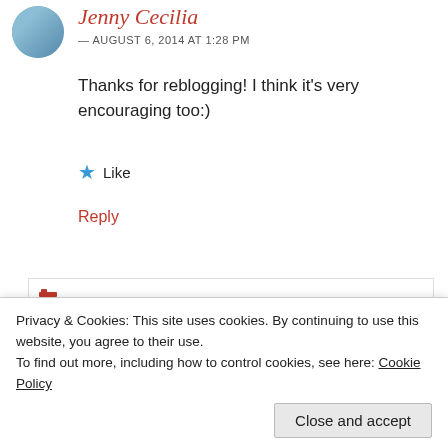Jenny Cecilia
— AUGUST 6, 2014 AT 1:28 PM
Thanks for reblogging! I think it's very encouraging too:)
Like
Reply
Bringing you the best stories on the web since 2009.
REPORT THIS AD
Privacy & Cookies: This site uses cookies. By continuing to use this website, you agree to their use.
To find out more, including how to control cookies, see here: Cookie Policy
Close and accept